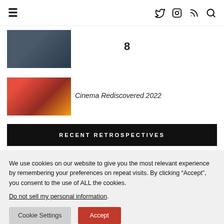≡  (navigation icons: Twitter, Instagram, RSS, Search)
[Figure (photo): Partial photo of a person wearing black, close-up face shot]
8
[Figure (photo): Two women in red and black ornate outfits with dramatic styling]
Cinema Rediscovered 2022
RECENT RETROSPECTIVES
We use cookies on our website to give you the most relevant experience by remembering your preferences on repeat visits. By clicking “Accept”, you consent to the use of ALL the cookies.
Do not sell my personal information.
Cookie Settings | Accept